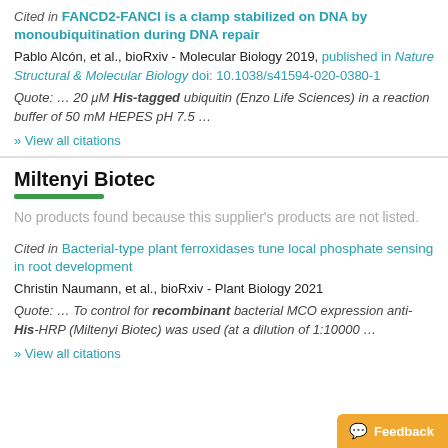Cited in FANCD2-FANCI is a clamp stabilized on DNA by monoubiquitination during DNA repair
Pablo Alcón, et al., bioRxiv - Molecular Biology 2019, published in Nature Structural & Molecular Biology doi: 10.1038/s41594-020-0380-1
Quote: ... 20 μM His-tagged ubiquitin (Enzo Life Sciences) in a reaction buffer of 50 mM HEPES pH 7.5 ...
» View all citations
Miltenyi Biotec
No products found because this supplier's products are not listed.
Cited in Bacterial-type plant ferroxidases tune local phosphate sensing in root development
Christin Naumann, et al., bioRxiv - Plant Biology 2021
Quote: ... To control for recombinant bacterial MCO expression anti-His-HRP (Miltenyi Biotec) was used (at a dilution of 1:10000 ...
» View all citations
Feedback